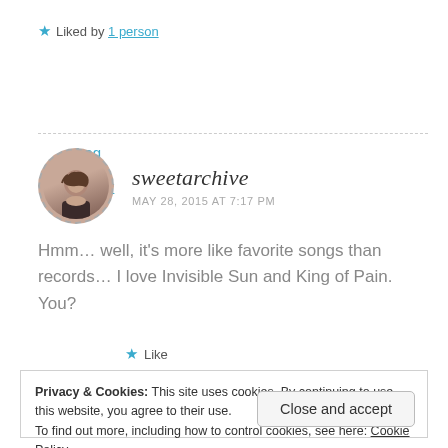★ Liked by 1 person
Log in to Reply
sweetarchive — MAY 28, 2015 AT 7:17 PM
Hmm… well, it's more like favorite songs than records… I love Invisible Sun and King of Pain. You?
★ Like
Privacy & Cookies: This site uses cookies. By continuing to use this website, you agree to their use.
To find out more, including how to control cookies, see here: Cookie Policy
Close and accept